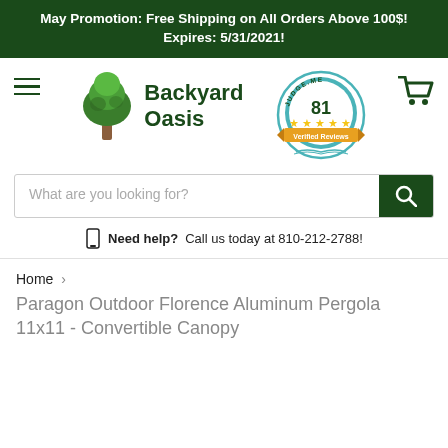May Promotion: Free Shipping on All Orders Above 100$! Expires: 5/31/2021!
[Figure (logo): Backyard Oasis logo with green tree icon and bold dark green text reading 'Backyard Oasis']
[Figure (other): Judge.me badge showing 81 verified reviews with 5 stars in a circular seal design]
[Figure (other): Shopping cart icon in dark green]
What are you looking for?
Need help? Call us today at 810-212-2788!
Home › Paragon Outdoor Florence Aluminum Pergola 11x11 - Convertible Canopy